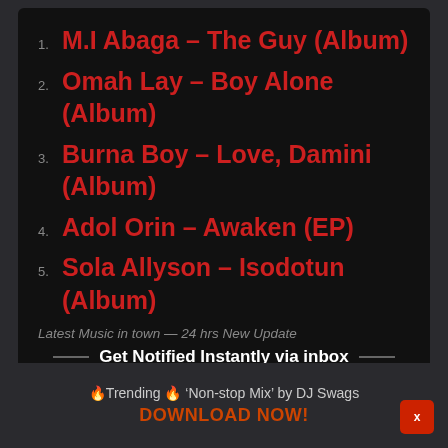1. M.I Abaga – The Guy (Album)
2. Omah Lay – Boy Alone (Album)
3. Burna Boy – Love, Damini (Album)
4. Adol Orin – Awaken (EP)
5. Sola Allyson – Isodotun (Album)
Latest Music in town — 24 hrs New Update
Get Notified Instantly via inbox
Get all the latest Music updates!
🔥Trending 🔥 'Non-stop Mix' by DJ Swags
DOWNLOAD NOW!